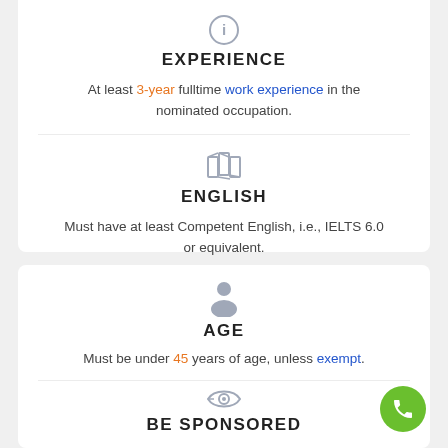EXPERIENCE
At least 3-year fulltime work experience in the nominated occupation.
ENGLISH
Must have at least Competent English, i.e., IELTS 6.0 or equivalent.
AGE
Must be under 45 years of age, unless exempt.
BE SPONSORED
Must be sponsored by an Australian employer.